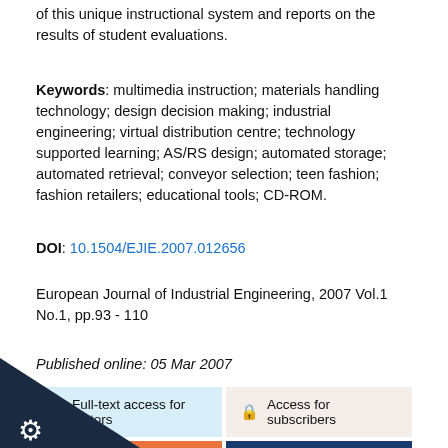of this unique instructional system and reports on the results of student evaluations.
Keywords: multimedia instruction; materials handling technology; design decision making; industrial engineering; virtual distribution centre; technology supported learning; AS/RS design; automated storage; automated retrieval; conveyor selection; teen fashion; fashion retailers; educational tools; CD-ROM.
DOI: 10.1504/EJIE.2007.012656
European Journal of Industrial Engineering, 2007 Vol.1 No.1, pp.93 - 110
Published online: 05 Mar 2007
Full-text access for editors
Access for subscribers
Purchase this article
Comment on this article